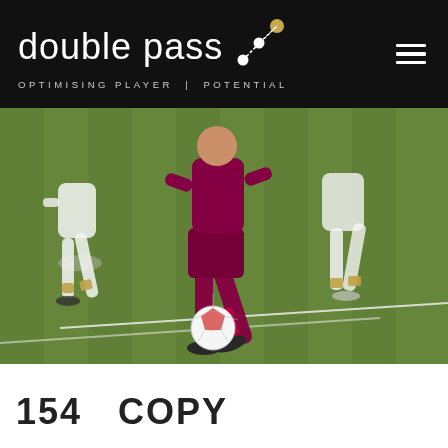[Figure (logo): Double Pass logo with network/node graphic and tagline 'OPTIMISING PLAYER | POTENTIAL' on black background, with hamburger menu icon on the right]
[Figure (photo): Soccer players running on a grass field, central player in dark red/maroon kit with the ball, surrounded by players in white kits with yellow accents]
154  COPY